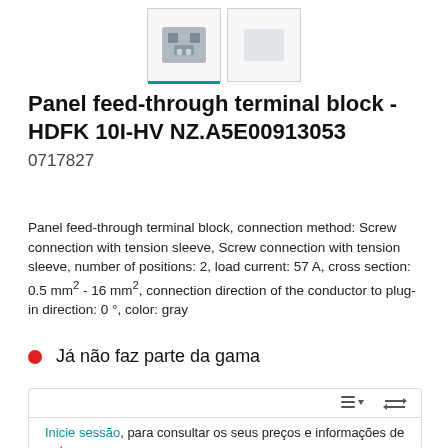[Figure (photo): Product thumbnail images of the HDFK 10I-HV panel feed-through terminal block, two thumbnail boxes, first active with teal underline]
Panel feed-through terminal block - HDFK 10I-HV NZ.A5E00913053
0717827
Panel feed-through terminal block, connection method: Screw connection with tension sleeve, Screw connection with tension sleeve, number of positions: 2, load current: 57 A, cross section: 0.5 mm² - 16 mm², connection direction of the conductor to plug-in direction: 0 °, color: gray
Já não faz parte da gama
[Figure (screenshot): Bottom card UI with toolbar icons (list/filter and transfer icons) and login prompt text: Inicie sessão, para consultar os seus preços e informações de entrega]